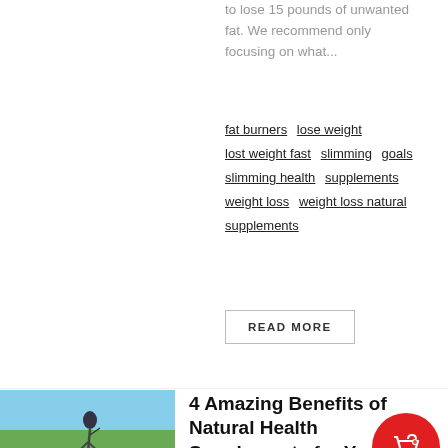to lose 15 pounds of unwanted fat. We recommend only focusing on what...
fat burners
lose weight
lost weight fast
slimming goals
slimming health supplements
weight loss
weight loss natural supplements
READ MORE
[Figure (photo): Cyclist riding a road bike on an outdoor path]
4 Amazing Benefits of Natural Health Supplements for You to Lose Weight and